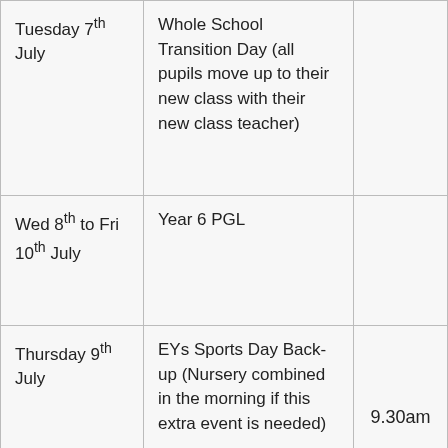| Date | Event | Time |
| --- | --- | --- |
| Tuesday 7th July | Whole School Transition Day (all pupils move up to their new class with their new class teacher) |  |
| Wed 8th to Fri 10th July | Year 6 PGL |  |
| Thursday 9th July | EYs Sports Day Back-up (Nursery combined in the morning if this extra event is needed) | 9.30am |
|  |  |  |